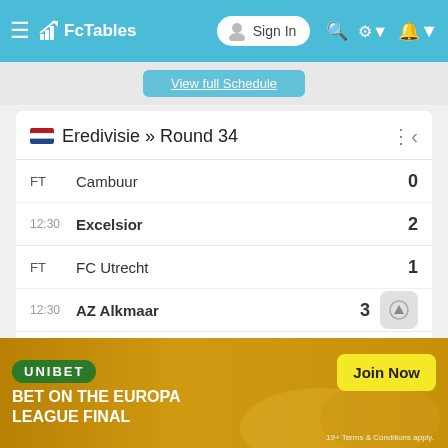FcTables — Sign In
View full Schedule
🇳🇱 Eredivisie » Round 34
| Status | Team | Score |
| --- | --- | --- |
| FT | Cambuur | 0 |
| 12:30 | Excelsior | 2 |
| FT | FC Utrecht | 1 |
| 12:30 | AZ Alkmaar | 3 |
| FT | Feyenoord | 1 |
| 12:30 | NEC Nijmegen | 0 |
| FT | PEC Zwolle | 1 |
[Figure (screenshot): Unibet advertisement banner: BET ON THE EUROPA LEAGUE FINAL — Join Now. 19+ Terms & Conditions apply.]